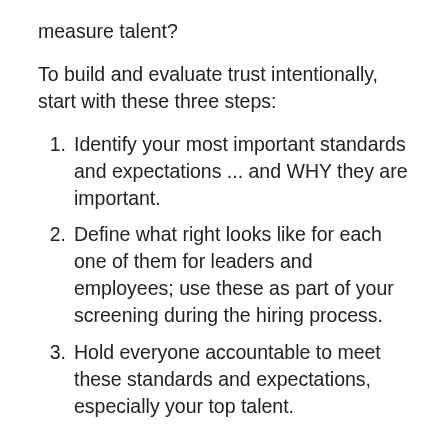measure talent?
To build and evaluate trust intentionally, start with these three steps:
Identify your most important standards and expectations ... and WHY they are important.
Define what right looks like for each one of them for leaders and employees; use these as part of your screening during the hiring process.
Hold everyone accountable to meet these standards and expectations, especially your top talent.